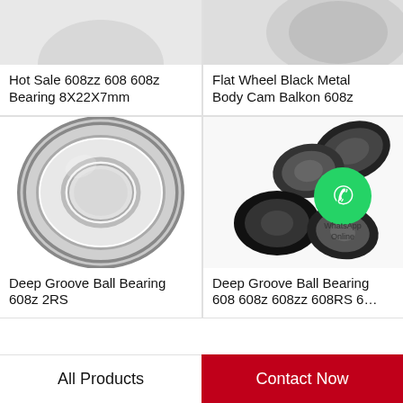[Figure (photo): Hot Sale 608zz 608 608z Bearing 8X22X7mm - product image partially visible at top]
Hot Sale 608zz 608 608z Bearing 8X22X7mm
[Figure (photo): Flat Wheel Black Metal Body Cam Balkon 608z - product image partially visible at top]
Flat Wheel Black Metal Body Cam Balkon 608z
[Figure (photo): Deep Groove Ball Bearing 608z 2RS - single metallic bearing ring shown]
Deep Groove Ball Bearing 608z 2RS
[Figure (photo): Deep Groove Ball Bearing 608 608z 608zz 608RS 6... - multiple black bearings with WhatsApp Online overlay]
Deep Groove Ball Bearing 608 608z 608zz 608RS 6…
All Products
Contact Now